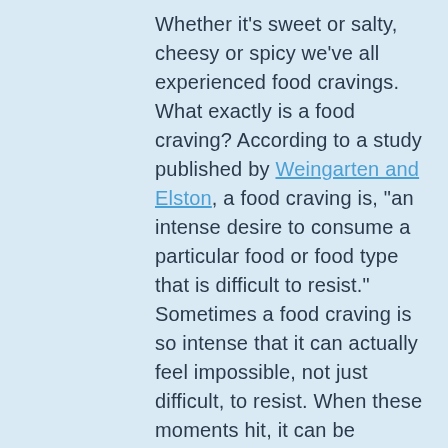Whether it's sweet or salty, cheesy or spicy we've all experienced food cravings. What exactly is a food craving? According to a study published by Weingarten and Elston, a food craving is, "an intense desire to consume a particular food or food type that is difficult to resist." Sometimes a food craving is so intense that it can actually feel impossible, not just difficult, to resist. When these moments hit, it can be frustrating- particularly if you're trying to eat healthier and/or lose weight. Giving in to food cravings can come with its own onslaught of negative feelings as well, like failure, disappointment, sadness, loss of control, etc. Although it's important to self-reflect on your feelings after giving in to a food craving